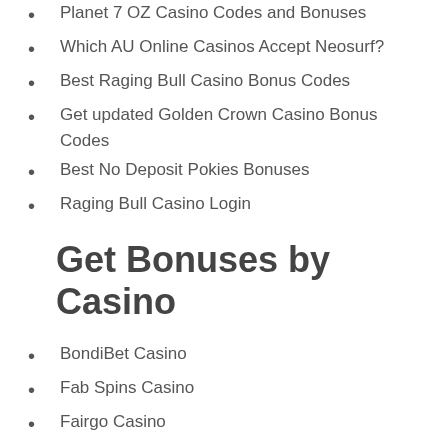Planet 7 OZ Casino Codes and Bonuses
Which AU Online Casinos Accept Neosurf?
Best Raging Bull Casino Bonus Codes
Get updated Golden Crown Casino Bonus Codes
Best No Deposit Pokies Bonuses
Raging Bull Casino Login
Get Bonuses by Casino
BondiBet Casino
Fab Spins Casino
Fairgo Casino
Fastpay Casino
GoldenCrown Casino
Ignition Casino
Joocasino Casino
LuckyDreams Casino